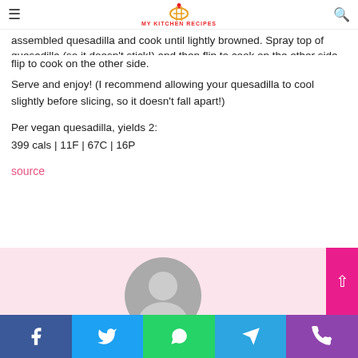My Kitchen Recipes
Heat a skillet over medium heat with a bit of oil or cooking spray. Add assembled quesadilla and cook until lightly browned. Spray top of quesadilla (so it doesn't stick!) and then flip to cook on the other side.
Serve and enjoy! (I recommend allowing your quesadilla to cool slightly before slicing, so it doesn't fall apart!)
Per vegan quesadilla, yields 2:
399 cals | 11F | 67C | 16P
source
[Figure (other): Gray avatar/profile placeholder circle on pink background]
Social share bar: Facebook, Twitter, WhatsApp, Telegram, Phone